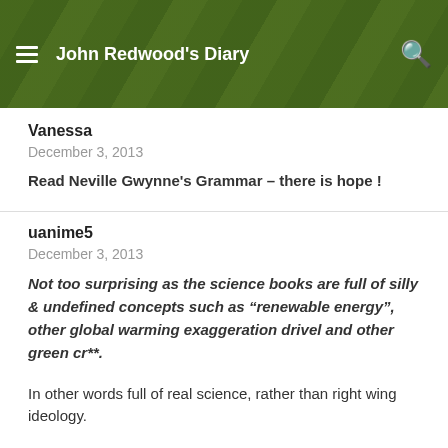John Redwood's Diary
Vanessa
December 3, 2013
Read Neville Gwynne's Grammar – there is hope !
uanime5
December 3, 2013
Not too surprising as the science books are full of silly & undefined concepts such as “renewable energy”, other global warming exaggeration drivel and other green cr**.
In other words full of real science, rather than right wing ideology.